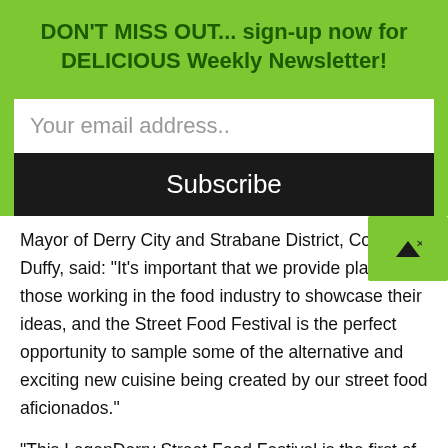DON'T MISS OUT... sign-up now for DELICIOUS Weekly Newsletter!
Your email address..
Subscribe
Mayor of Derry City and Strabane District, Councillor Duffy, said: “It’s important that we provide platforms those working in the food industry to showcase their ideas, and the Street Food Festival is the perfect opportunity to sample some of the alternative and exciting new cuisine being created by our street food aficionados.”
“This LegenDerry Street Food Festival is the first of its kind here since 2019 and this year’s event is bigger and better than ever, with quality food complemented by some fantastic products from our local drinks producers and live